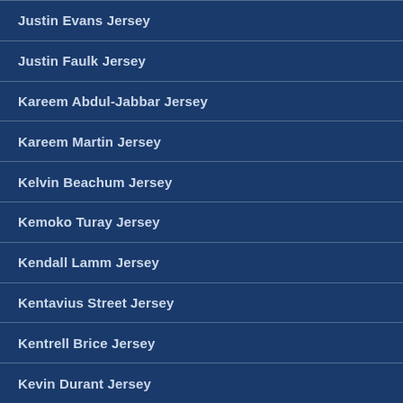Justin Evans Jersey
Justin Faulk Jersey
Kareem Abdul-Jabbar Jersey
Kareem Martin Jersey
Kelvin Beachum Jersey
Kemoko Turay Jersey
Kendall Lamm Jersey
Kentavius Street Jersey
Kentrell Brice Jersey
Kevin Durant Jersey